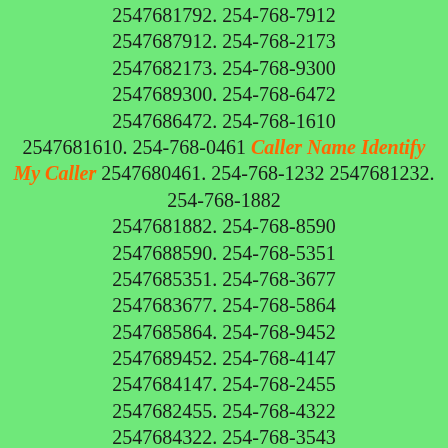2547681792. 254-768-7912 2547687912. 254-768-2173 2547682173. 254-768-9300 2547689300. 254-768-6472 2547686472. 254-768-1610 2547681610. 254-768-0461 Caller Name Identify My Caller 2547680461. 254-768-1232 2547681232. 254-768-1882 2547681882. 254-768-8590 2547688590. 254-768-5351 2547685351. 254-768-3677 2547683677. 254-768-5864 2547685864. 254-768-9452 2547689452. 254-768-4147 2547684147. 254-768-2455 2547682455. 254-768-4322 2547684322. 254-768-3543 2547683543. 254-768-7862 2547687862. 254-768-5702 2547685702. 254-768-4796 2547684796. 254-768-6585 2547686585. 254-768-3017 2547683017. 254-768-2318 2547682318. 254-768-1437 2547681437. 254-768-0060